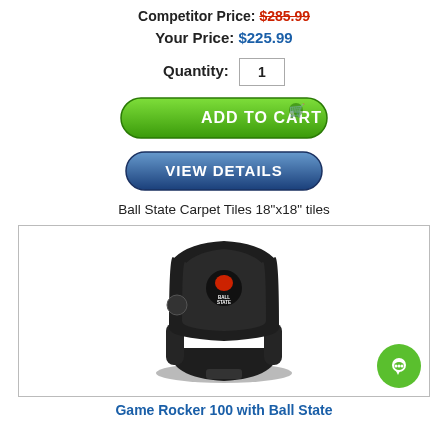Competitor Price: $285.99
Your Price: $225.99
Quantity: 1
[Figure (screenshot): Green 'ADD TO CART' button with shopping cart icon]
[Figure (screenshot): Blue 'VIEW DETAILS' button]
Ball State Carpet Tiles 18"x18" tiles
[Figure (photo): Black gaming floor rocker chair with Ball State Cardinals logo embroidered on the back, shown on white background inside a bordered box. A green chat bubble icon appears in the bottom right corner.]
Game Rocker 100 with Ball State